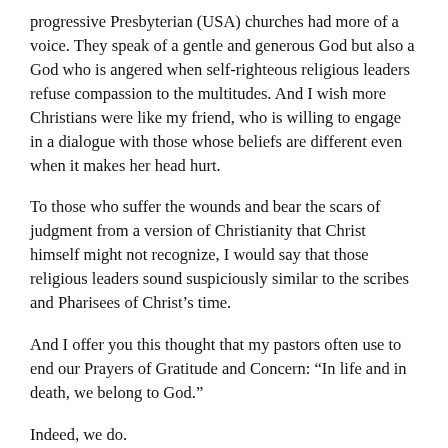progressive Presbyterian (USA) churches had more of a voice. They speak of a gentle and generous God but also a God who is angered when self-righteous religious leaders refuse compassion to the multitudes. And I wish more Christians were like my friend, who is willing to engage in a dialogue with those whose beliefs are different even when it makes her head hurt.
To those who suffer the wounds and bear the scars of judgment from a version of Christianity that Christ himself might not recognize, I would say that those religious leaders sound suspiciously similar to the scribes and Pharisees of Christ's time.
And I offer you this thought that my pastors often use to end our Prayers of Gratitude and Concern: “In life and in death, we belong to God.”
Indeed, we do.